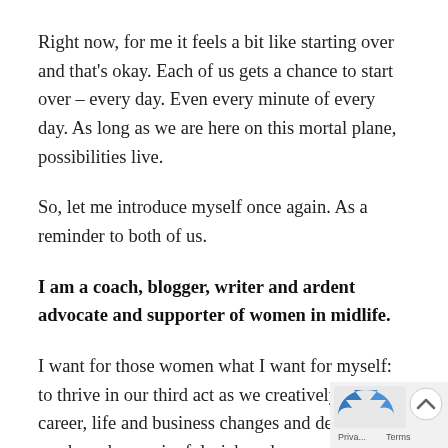Right now, for me it feels a bit like starting over and that's okay. Each of us gets a chance to start over – every day. Even every minute of every day. As long as we are here on this mortal plane, possibilities live.
So, let me introduce myself once again. As a reminder to both of us.
I am a coach, blogger, writer and ardent advocate and supporter of women in midlife.
I want for those women what I want for myself: to thrive in our third act as we creatively navigate career, life and business changes and design an awakened, meaningful, rich and purposeful, multidimensional second half of life. I love to help
[Figure (other): reCAPTCHA privacy widget overlay in bottom-right corner with blue arrow logo, up-chevron button, and 'Privacy Terms' text]